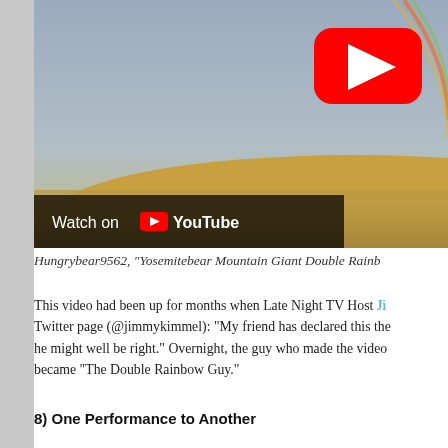[Figure (screenshot): YouTube video thumbnail showing a landscape with a double rainbow. A large red YouTube play button is visible in the upper right. At the bottom left is a dark overlay with 'Watch on YouTube' text and the YouTube logo.]
Hungrybear9562, "Yosemitebear Mountain Giant Double Rainb...
This video had been up for months when Late Night TV Host Ji... Twitter page (@jimmykimmel): "My friend has declared this the... he might well be right." Overnight, the guy who made the video... became "The Double Rainbow Guy."
8) One Performance to Another